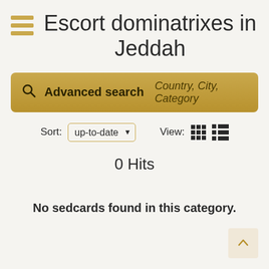Escort dominatrixes in Jeddah
[Figure (screenshot): Advanced search bar with gold background, search icon, bold 'Advanced search' label, and italic placeholder 'Country, City, Category']
Sort: up-to-date  View:
0 Hits
No sedcards found in this category.